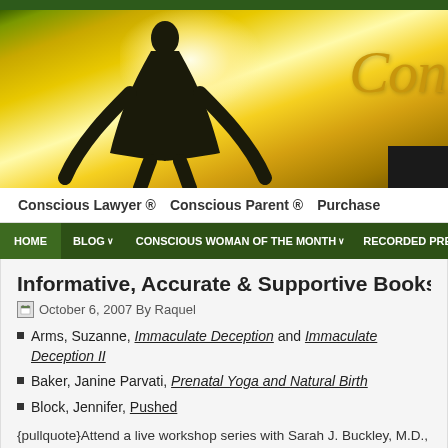[Figure (illustration): Website banner with golden/yellow gradient background, silhouette of a person with arms outstretched looking upward toward a bright light, and partial cursive text reading 'Con' in gold on the right side]
Conscious Lawyer ®    Conscious Parent ®    Purchase
HOME   BLOG ∨   CONSCIOUS WOMAN OF THE MONTH ∨   RECORDED PRE:
Informative, Accurate & Supportive Books and C
October 6, 2007 By Raquel
Arms, Suzanne, Immaculate Deception and Immaculate Deception II
Baker, Janine Parvati, Prenatal Yoga and Natural Birth
Block, Jennifer, Pushed
{pullquote}Attend a live workshop series with Sarah J. Buckley, M.D., entitled G